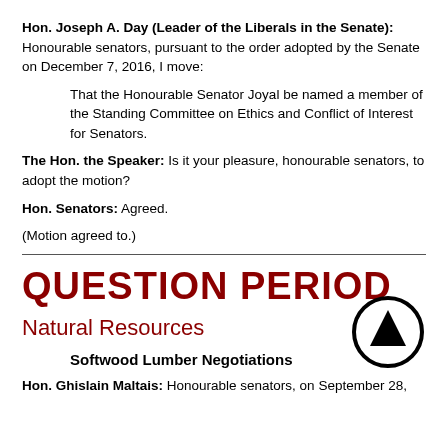Hon. Joseph A. Day (Leader of the Liberals in the Senate): Honourable senators, pursuant to the order adopted by the Senate on December 7, 2016, I move:
That the Honourable Senator Joyal be named a member of the Standing Committee on Ethics and Conflict of Interest for Senators.
The Hon. the Speaker: Is it your pleasure, honourable senators, to adopt the motion?
Hon. Senators: Agreed.
(Motion agreed to.)
QUESTION PERIOD
Natural Resources
Softwood Lumber Negotiations
Hon. Ghislain Maltais: Honourable senators, on September 28,